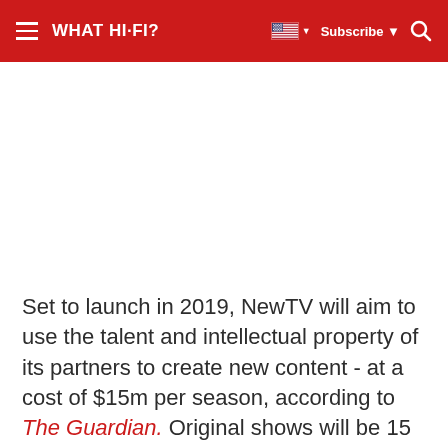WHAT HI-FI? | Subscribe
[Figure (other): White advertisement/image placeholder area]
Set to launch in 2019, NewTV will aim to use the talent and intellectual property of its partners to create new content - at a cost of $15m per season, according to The Guardian. Original shows will be 15 minutes in